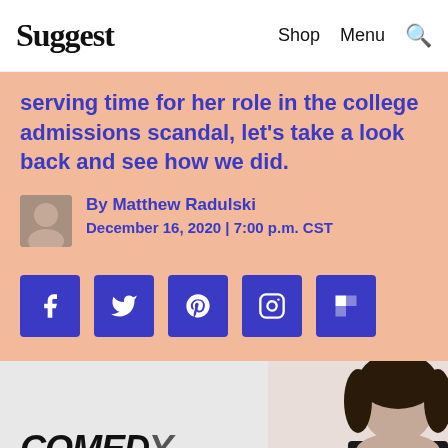Suggest | Shop | Menu
serving time for her role in the college admissions scandal, let's take a look back and see how we did.
By Matthew Radulski
December 16, 2020 | 7:00 p.m. CST
[Figure (other): Social media sharing icons: Facebook, Twitter, Pinterest, Instagram, Flipboard]
[Figure (photo): Comedy Central logo on backdrop, person's head visible on right side]
[Figure (other): Advertisement banner for mint mobile: The Modern Family Plan, $15/mo per line, Shop Now]